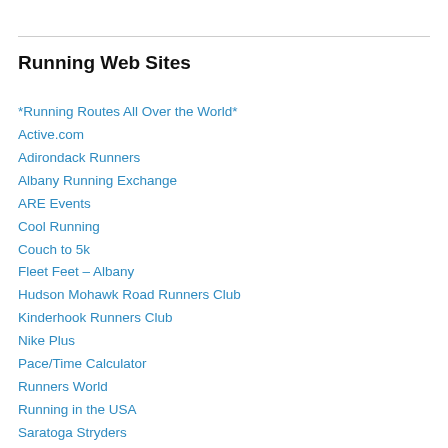Running Web Sites
*Running Routes All Over the World*
Active.com
Adirondack Runners
Albany Running Exchange
ARE Events
Cool Running
Couch to 5k
Fleet Feet – Albany
Hudson Mohawk Road Runners Club
Kinderhook Runners Club
Nike Plus
Pace/Time Calculator
Runners World
Running in the USA
Saratoga Stryders
Saucony